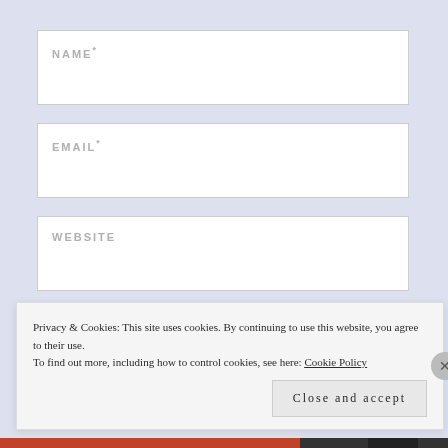NAME *
EMAIL *
WEBSITE
POST COMMENT
Notify me of...
Privacy & Cookies: This site uses cookies. By continuing to use this website, you agree to their use. To find out more, including how to control cookies, see here: Cookie Policy
Close and accept